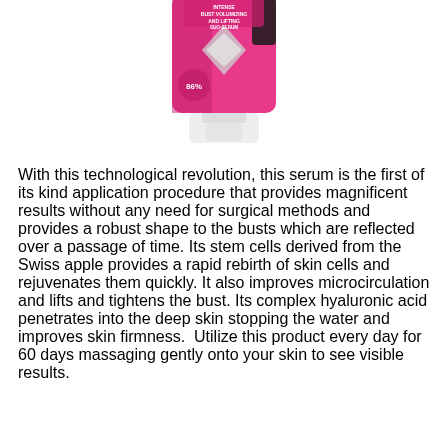[Figure (photo): A pink and white cosmetic tube/bottle product - Intense Bust Volumizing and Lifting Duo-Serum, partially cropped at top of page]
With this technological revolution, this serum is the first of its kind application procedure that provides magnificent results without any need for surgical methods and provides a robust shape to the busts which are reflected over a passage of time. Its stem cells derived from the Swiss apple provides a rapid rebirth of skin cells and rejuvenates them quickly. It also improves microcirculation and lifts and tightens the bust. Its complex hyaluronic acid penetrates into the deep skin stopping the water and improves skin firmness.  Utilize this product every day for 60 days massaging gently onto your skin to see visible results.